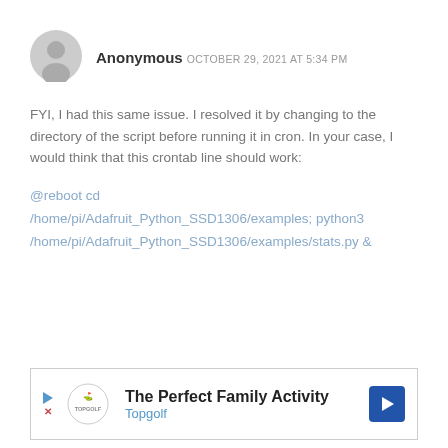Anonymous OCTOBER 29, 2021 AT 5:34 PM
FYI, I had this same issue. I resolved it by changing to the directory of the script before running it in cron. In your case, I would think that this crontab line should work:
@reboot cd /home/pi/Adafruit_Python_SSD1306/examples; python3 /home/pi/Adafruit_Python_SSD1306/examples/stats.py &
[Figure (other): Advertisement banner for Topgolf - The Perfect Family Activity]